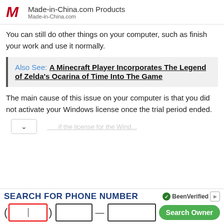[Figure (logo): Made-in-China.com Products ad with red M logo, title 'Made-in-China.com Products', subtitle 'Made-in-China.com']
You can still do other things on your computer, such as finish your work and use it normally.
Also See: A Minecraft Player Incorporates The Legend of Zelda's Ocarina of Time Into The Game
The main cause of this issue on your computer is that you did not activate your Windows license once the trial period ended.
[Figure (screenshot): Bottom advertisement banner: SEARCH FOR PHONE NUMBER with BeenVerified logo and phone number input fields with Search Owner button]